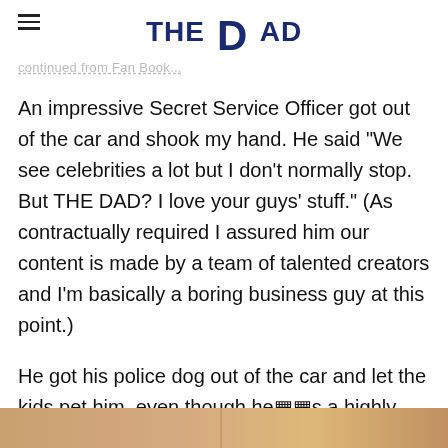THE DAD
continued from Fan Book...
An impressive Secret Service Officer got out of the car and shook my hand. He said “We see celebrities a lot but I don’t normally stop. But THE DAD? I love your guys’ stuff.” (As contractually required I assured him our content is made by a team of talented creators and I’m basically a boring business guy at this point.)
He got his police dog out of the car and let the kids pet him, even though he��s a highly trained combat doggo.
[Figure (photo): Bottom edge of a photo showing warm brown/tan tones, partially visible at the bottom of the page]